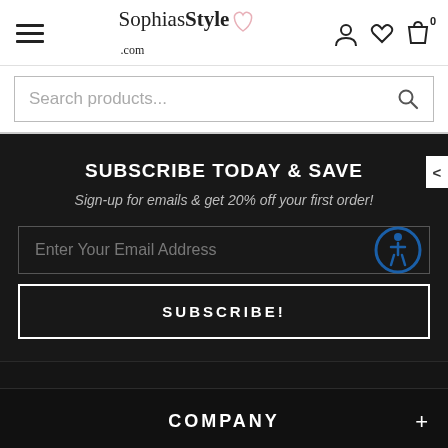[Figure (logo): SophiasStyle.com logo with hamburger menu, user icon, heart icon, and shopping bag with 0 badge]
Search products...
SUBSCRIBE TODAY & SAVE
Sign-up for emails & get 20% off your first order!
Enter Your Email Address
SUBSCRIBE!
COMPANY
CUSTOMER SERVICE